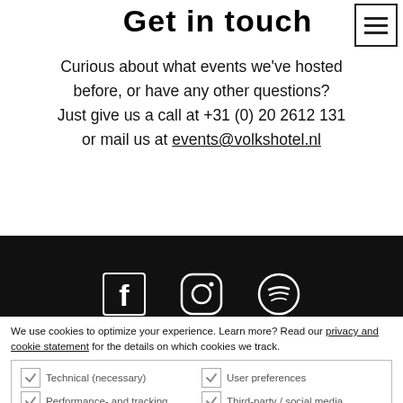Get in touch
Curious about what events we've hosted before, or have any other questions? Just give us a call at +31 (0) 20 2612 131 or mail us at events@volkshotel.nl
[Figure (illustration): Dark footer bar with Facebook, Instagram, and Spotify social media icons]
We use cookies to optimize your experience. Learn more? Read our privacy and cookie statement for the details on which cookies we track.
Technical (necessary)
User preferences
Performance- and tracking
Third-party / social media